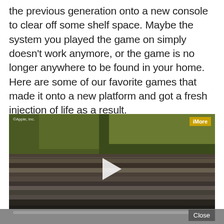the previous generation onto a new console to clear off some shelf space. Maybe the system you played the game on simply doesn't work anymore, or the game is no longer anywhere to be found in your home. Here are some of our favorite games that made it onto a new platform and got a fresh injection of life as a result.
[Figure (screenshot): Embedded video player showing a dark outdoor scene with a metallic object. Watermark '©Apple, Inc.' in top-left, 'iMore' badge in top-right, a play button triangle in the center, a progress bar near the bottom, and a 'Close' button at the bottom-right.]